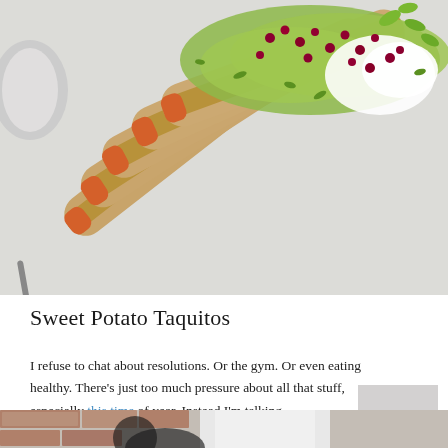[Figure (photo): Overhead photo of sweet potato taquitos (rolled tortillas) topped with guacamole, sour cream, pomegranate seeds, and cilantro, with a small bowl of lime wedges on the side, on a light surface.]
Sweet Potato Taquitos
I refuse to chat about resolutions. Or the gym. Or even eating healthy. There’s just too much pressure about all that stuff, especially this time of year. Instead I’m talking
[Figure (photo): Partial photo showing what appears to be a person near a brick wall with a doorway, cropped at the bottom of the page.]